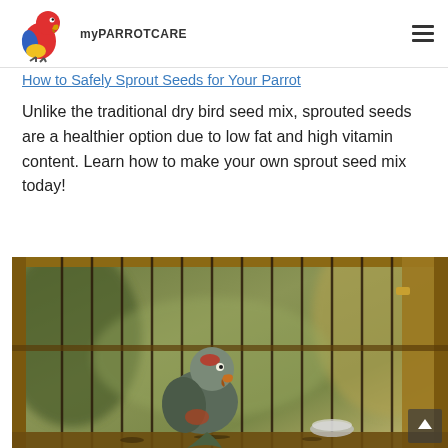myPARROTCARE
How to Safely Sprout Seeds for Your Parrot
Unlike the traditional dry bird seed mix, sprouted seeds are a healthier option due to low fat and high vitamin content. Learn how to make your own sprout seed mix today!
[Figure (photo): A gray parrot inside a wooden and metal bar cage, sitting on the cage floor near a small metal bowl, with a blurred green background.]